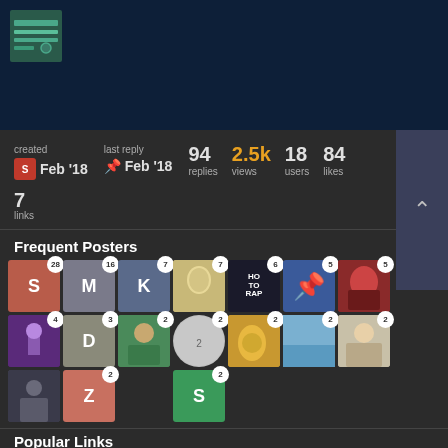[Figure (logo): Circuit/Arduino board logo icon in green on dark blue background]
| created | last reply | replies | views | users | likes | links |
| --- | --- | --- | --- | --- | --- | --- |
| Feb '18 | Feb '18 | 94 | 2.5k | 18 | 84 | 7 |
Frequent Posters
[Figure (illustration): Grid of frequent poster avatars with post count badges: S(28), M(16), K(7), avatar(7), HO TO RAP(6), pin icon(5), angry face(5), purple figure(4), D(3), person avatar(2), fox(2), landscape(2), person with white(2), dark figure(2), Z avatar(2), S(green, 2)]
Popular Links
38  Grumpy Gamer - Friday Questions #
13  Gustavo Viselner (@pixelgustavo) •
1 / 95